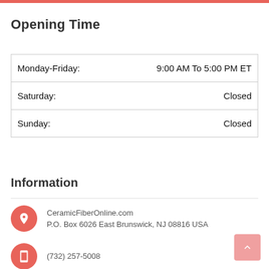Opening Time
| Day | Hours |
| --- | --- |
| Monday-Friday: | 9:00 AM To 5:00 PM ET |
| Saturday: | Closed |
| Sunday: | Closed |
Information
CeramicFiberOnline.com
P.O. Box 6026 East Brunswick, NJ 08816 USA
(732) 257-5008